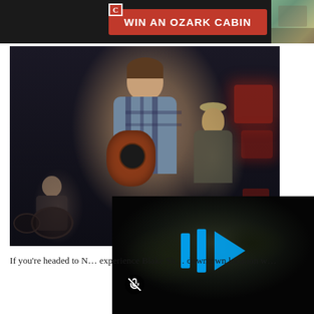[Figure (photo): Advertisement banner: dark background with red button reading 'WIN AN OZARK CABIN' and a photo of a cabin on the right side]
[Figure (photo): Country music performer (Blake Shelton) playing acoustic guitar on stage, wearing a plaid shirt, smiling, with red stage lights in the background and another guitarist visible behind him]
[Figure (other): Video player overlay in bottom-right corner of photo showing play button (two vertical bars and triangle) in blue/cyan color against dark background, with mute icon]
If you’re headed to N… experience Blake Sh… downtown location w…